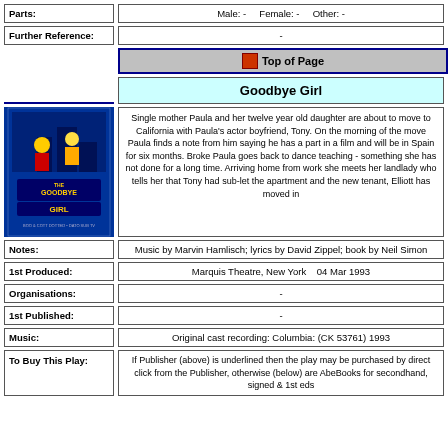| Parts: | Male: -   Female: -   Other: - |
| --- | --- |
| Further Reference: | - |
| --- | --- |
Top of Page
Goodbye Girl
[Figure (photo): Book cover for 'The Goodbye Girl' musical - blue poster with illustration]
Single mother Paula and her twelve year old daughter are about to move to California with Paula's actor boyfriend, Tony. On the morning of the move Paula finds a note from him saying he has a part in a film and will be in Spain for six months. Broke Paula goes back to dance teaching - something she has not done for a long time. Arriving home from work she meets her landlady who tells her that Tony had sub-let the apartment and the new tenant, Elliott has moved in
| Notes: | Music by Marvin Hamlisch; lyrics by David Zippel; book by Neil Simon |
| --- | --- |
| 1st Produced: | Marquis Theatre, New York    04 Mar 1993 |
| --- | --- |
| Organisations: | - |
| --- | --- |
| 1st Published: | - |
| --- | --- |
| Music: | Original cast recording: Columbia: (CK 53761) 1993 |
| --- | --- |
| To Buy This Play: | If Publisher (above) is underlined then the play may be purchased by direct click from the Publisher, otherwise (below) are AbeBooks for secondhand, signed & 1st eds. |
| --- | --- |